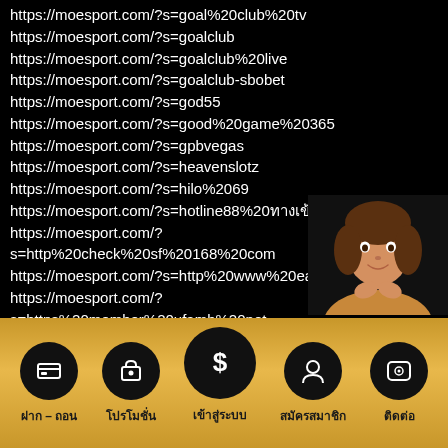https://moesport.com/?s=goal%20club%20tv
https://moesport.com/?s=goalclub
https://moesport.com/?s=goalclub%20live
https://moesport.com/?s=goalclub-sbobet
https://moesport.com/?s=god55
https://moesport.com/?s=good%20game%20365
https://moesport.com/?s=gpbvegas
https://moesport.com/?s=heavenslotz
https://moesport.com/?s=hilo%2069
https://moesport.com/?s=hotline88%20ทางเข้า
https://moesport.com/?s=http%20check%20sf%20168%20com
https://moesport.com/?s=http%20www%20easy168%20net
https://moesport.com/?s=https%20member%20ufamb%20net
[Figure (photo): Woman smiling, posing with hands near chin, appearing in bottom-right corner of the URL list area]
[Figure (infographic): Golden footer navigation bar with 5 circular black icons: ฝาก-ถอน (deposit-withdraw), โปรโมชั่น (promotion), เข้าสู่ระบบ (login, larger center circle with dollar sign), สมัครสมาชิก (register), ติดต่อ (contact)]